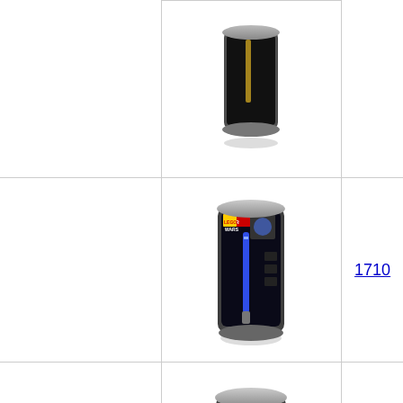[Figure (photo): LEGO Star Wars lightsaber tube container product - partially visible at top, cropped]
[Figure (photo): LEGO Star Wars lightsaber tube container product - blue lightsaber, R2-D2 themed, item 1710]
1710
[Figure (photo): LEGO Star Wars lightsaber tube container product - red lightsaber, Darth Vader themed, item 1709]
1709